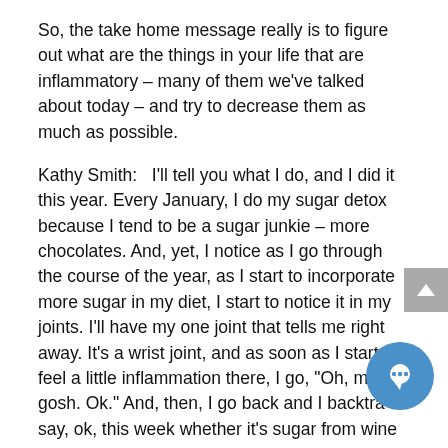So, the take home message really is to figure out what are the things in your life that are inflammatory – many of them we've talked about today – and try to decrease them as much as possible.
Kathy Smith:   I'll tell you what I do, and I did it this year. Every January, I do my sugar detox because I tend to be a sugar junkie – more chocolates. And, yet, I notice as I go through the course of the year, as I start to incorporate more sugar in my diet, I start to notice it in my joints. I'll have my one joint that tells me right away. It's a wrist joint, and as soon as I start to feel a little inflammation there, I go, "Oh, my gosh. Ok." And, then, I go back and I backtrack say, ok, this week whether it's sugar from wine